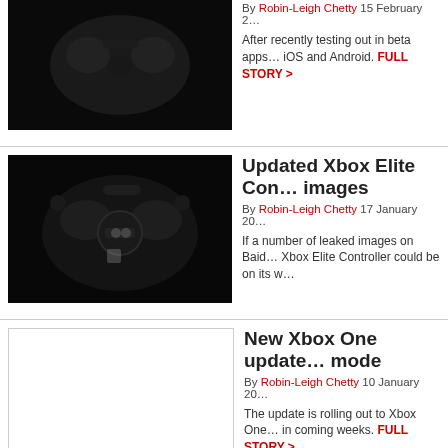[Figure (photo): Dark photo of an Xbox controller on a black background]
By Robin-Leigh Chetty 15 February 2… After recently testing out in beta apps… iOS and Android. FULL STORY >
[Figure (photo): Dark photo of an Xbox Elite Controller on a black background]
Updated Xbox Elite Controller images
By Robin-Leigh Chetty 17 January 20… If a number of leaked images on Baid… Xbox Elite Controller could be on its w…
[Figure (photo): Blank/white placeholder image for third article]
New Xbox One update mode
By Robin-Leigh Chetty 10 January 20… The update is rolling out to Xbox One… in coming weeks. FULL STORY >